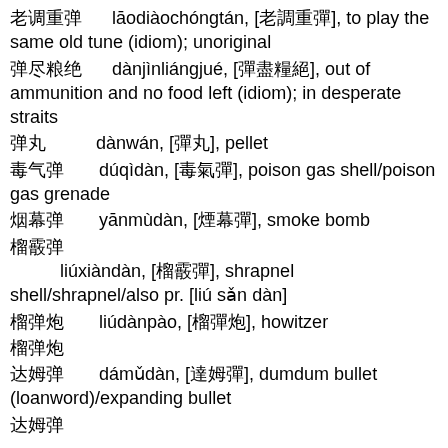老调重弹  lāodiàochóngtán, [老調重彈], to play the same old tune (idiom); unoriginal
弹尽粮绝  dànjìnliángjué, [彈盡糧絕], out of ammunition and no food left (idiom); in desperate straits
弹丸  dànwán, [彈丸], pellet
毒气弹  dúqìdàn, [毒氣彈], poison gas shell/poison gas grenade
烟幕弹  yānmùdàn, [煙幕彈], smoke bomb
榴霰弹  liúxiàndàn, [榴霰彈], shrapnel shell/shrapnel/also pr. [liú sǎn dàn]
榴弹炮  liúdànpào, [榴彈炮], howitzer
达姆弹  dámǔdàn, [達姆彈], dumdum bullet (loanword)/expanding bullet